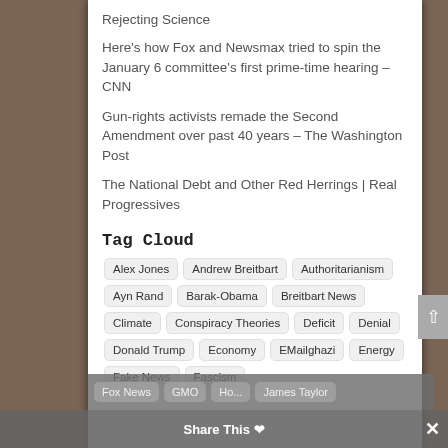Rejecting Science
Here's how Fox and Newsmax tried to spin the January 6 committee's first prime-time hearing – CNN
Gun-rights activists remade the Second Amendment over past 40 years – The Washington Post
The National Debt and Other Red Herrings | Real Progressives
Tag Cloud
Alex Jones · Andrew Breitbart · Authoritarianism · Ayn Rand · Barak-Obama · Breitbart News · Climate · Conspiracy Theories · Deficit · Denial · Donald Trump · Economy · EMailghazi · Energy · Fake News · Fascism · Fox News · GMO · Ho... · James Taylor
Share This ×